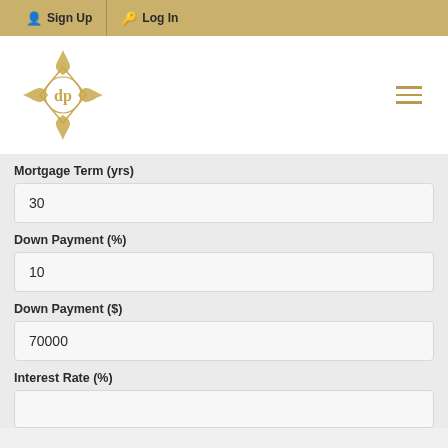Sign Up   Log In
[Figure (logo): Gold ornate compass/DP monogram logo]
Mortgage Term (yrs)
30
Down Payment (%)
10
Down Payment ($)
70000
Interest Rate (%)